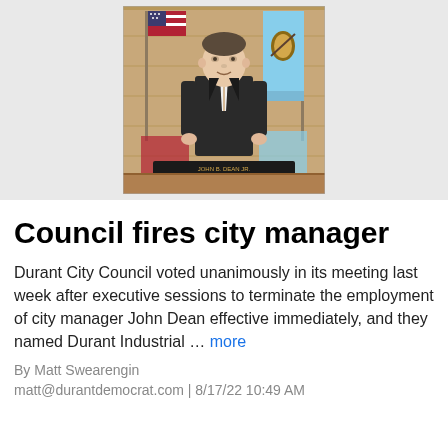[Figure (photo): A man in a dark suit standing in front of an American flag and an Oklahoma state flag, with a nameplate reading 'John B. Dean Jr., City Manager' on a wooden desk/podium in front of him.]
Council fires city manager
Durant City Council voted unanimously in its meeting last week after executive sessions to terminate the employment of city manager John Dean effective immediately, and they named Durant Industrial … more
By Matt Swearengin matt@durantdemocrat.com | 8/17/22 10:49 AM